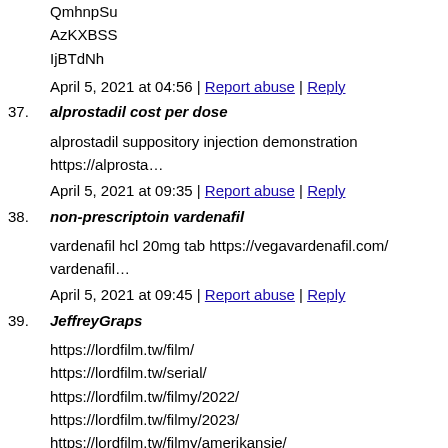QmhnpSu
AzKXBSS
IjBTdNh
April 5, 2021 at 04:56 | Report abuse | Reply
37. alprostadil cost per dose
alprostadil suppository injection demonstration https://alprosta...
April 5, 2021 at 09:35 | Report abuse | Reply
38. non-prescriptoin vardenafil
vardenafil hcl 20mg tab https://vegavardenafil.com/ vardenafil...
April 5, 2021 at 09:45 | Report abuse | Reply
39. JeffreyGraps
https://lordfilm.tw/film/
https://lordfilm.tw/serial/
https://lordfilm.tw/filmy/2022/
https://lordfilm.tw/filmy/2023/
https://lordfilm.tw/filmy/amerikansie/
https://lordfilm.tw/mul/
https://lordfilm.tw/poborki/
https://lordfilm.tw/filmy/boevi/
https://lordfilm.tw/film/komedija/